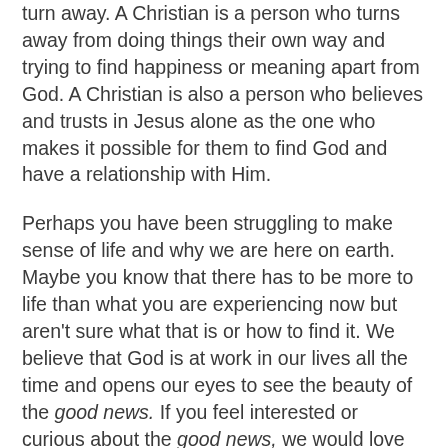turn away. A Christian is a person who turns away from doing things their own way and trying to find happiness or meaning apart from God. A Christian is also a person who believes and trusts in Jesus alone as the one who makes it possible for them to find God and have a relationship with Him.
Perhaps you have been struggling to make sense of life and why we are here on earth. Maybe you know that there has to be more to life than what you are experiencing now but aren't sure what that is or how to find it. We believe that God is at work in our lives all the time and opens our eyes to see the beauty of the good news. If you feel interested or curious about the good news, we would love to connect with you.